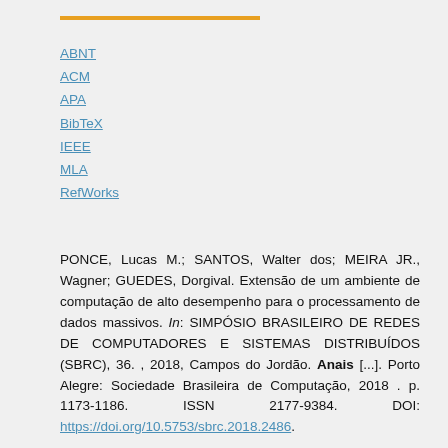ABNT
ACM
APA
BibTeX
IEEE
MLA
RefWorks
PONCE, Lucas M.; SANTOS, Walter dos; MEIRA JR., Wagner; GUEDES, Dorgival. Extensão de um ambiente de computação de alto desempenho para o processamento de dados massivos. In: SIMPÓSIO BRASILEIRO DE REDES DE COMPUTADORES E SISTEMAS DISTRIBUÍDOS (SBRC), 36. , 2018, Campos do Jordão. Anais [...]. Porto Alegre: Sociedade Brasileira de Computação, 2018 . p. 1173-1186. ISSN 2177-9384. DOI: https://doi.org/10.5753/sbrc.2018.2486.